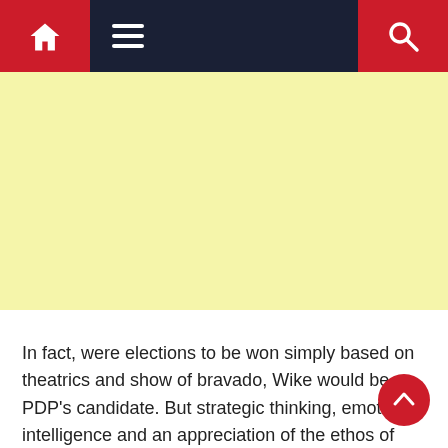[Figure (screenshot): Website navigation bar with dark navy background, red home icon button on the left, hamburger menu icon in the center-left, and red search icon button on the right]
[Figure (other): Yellow/cream colored advertisement banner placeholder]
In fact, were elections to be won simply based on theatrics and show of bravado, Wike would be PDP's candidate. But strategic thinking, emotional intelligence and an appreciation of the ethos of consequence management are qualities that appear to suffer discounts here. Add to this his hollow mobilisation speeches, bereft of strategic ideas that